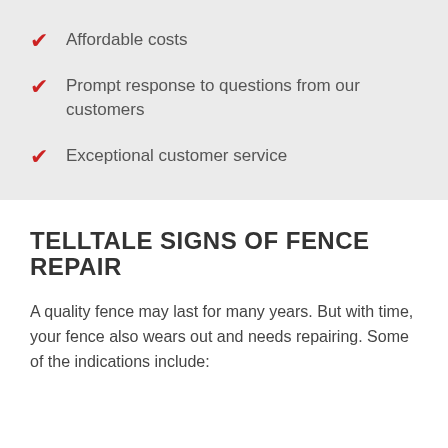Affordable costs
Prompt response to questions from our customers
Exceptional customer service
TELLTALE SIGNS OF FENCE REPAIR
A quality fence may last for many years. But with time, your fence also wears out and needs repairing. Some of the indications include: